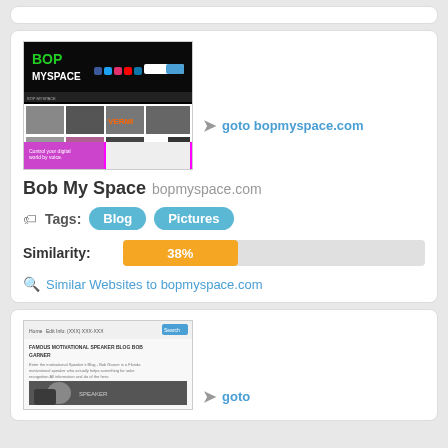[Figure (screenshot): Screenshot of bopmyspace.com website showing BOP MYSPACE header on black background with thumbnail images of celebrities/content below]
Bob My Space bopmyspace.com
Tags: Blog Pictures
Similarity: 38%
Similar Websites to bopmyspace.com
[Figure (screenshot): Screenshot of a second website showing a blog or speaker page with header navigation and a photo of a person speaking]
goto